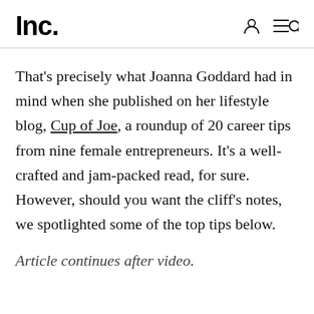Inc.
That's precisely what Joanna Goddard had in mind when she published on her lifestyle blog, Cup of Joe, a roundup of 20 career tips from nine female entrepreneurs. It's a well-crafted and jam-packed read, for sure. However, should you want the cliff's notes, we spotlighted some of the top tips below.
Article continues after video.